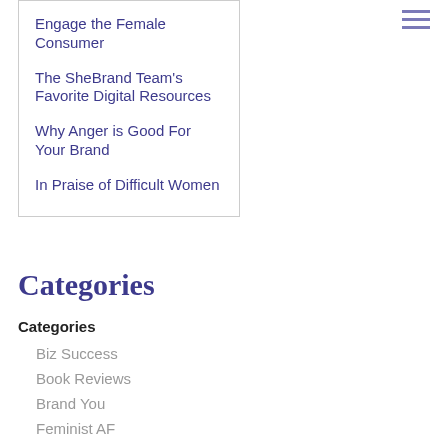Engage the Female Consumer
The SheBrand Team's Favorite Digital Resources
Why Anger is Good For Your Brand
In Praise of Difficult Women
Categories
Categories
Biz Success
Book Reviews
Brand You
Feminist AF